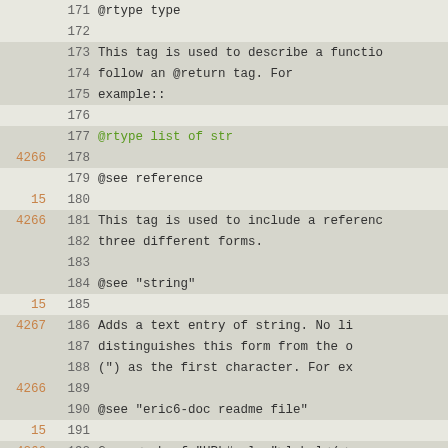[Figure (screenshot): Code editor view showing lines 171-200 of a source file with line numbers, git diff annotations (in orange), and code content. Some lines highlighted in gray. Green text shows @rtype list of str and @see <a href=...> annotations.]